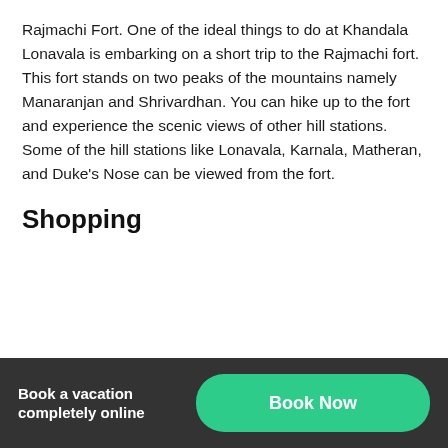Rajmachi Fort. One of the ideal things to do at Khandala Lonavala is embarking on a short trip to the Rajmachi fort. This fort stands on two peaks of the mountains namely Manaranjan and Shrivardhan. You can hike up to the fort and experience the scenic views of other hill stations. Some of the hill stations like Lonavala, Karnala, Matheran, and Duke's Nose can be viewed from the fort.
Shopping
[Figure (photo): Close-up photo of two pieces of traditional Indian chikki (nut brittle) candy — one with peanuts and one with sesame seeds — on a light background.]
Book a vacation completely online   Book Now